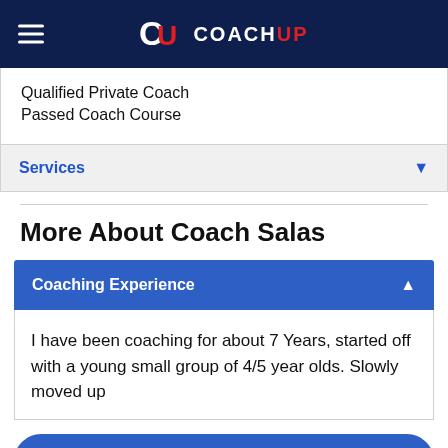CoachUp
Qualified Private Coach
Passed Coach Course
Services
More About Coach Salas
Coaching Experience
I have been coaching for about 7 Years, started off with a young small group of 4/5 year olds. Slowly moved up
Message Coach